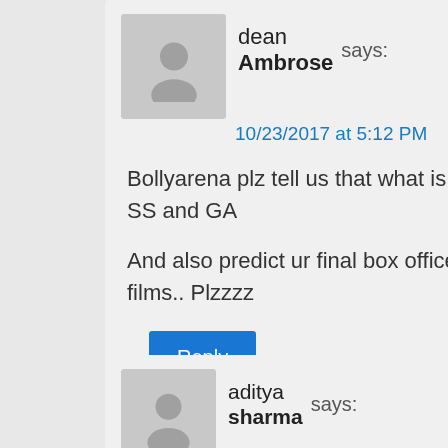dean Ambrose says:
10/23/2017 at 5:12 PM
Bollyarena plz tell us that what is budget of both films SS and GA

And also predict ur final box office collection of both films.. Plzzzz
Reply
aditya sharma says: